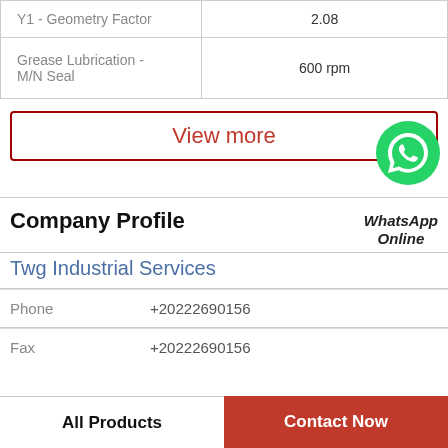| Parameter | Value |
| --- | --- |
| Y1 - Geometry Factor | 2.08 |
| Grease Lubrication - M/N Seal | 600 rpm |
View more
Company Profile
[Figure (logo): WhatsApp green phone bubble icon with label 'WhatsApp Online']
Twg Industrial Services
Phone   +20222690156
Fax   +20222690156
All Products
Contact Now